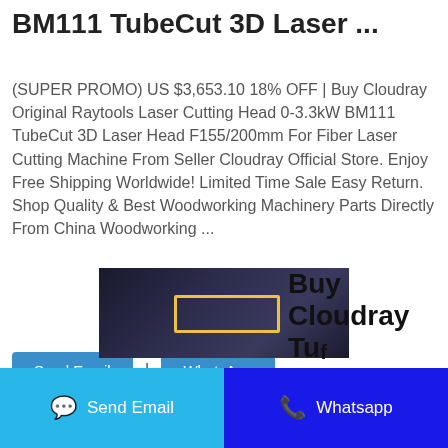BM111 TubeCut 3D Laser ...
(SUPER PROMO) US $3,653.10 18% OFF | Buy Cloudray Original Raytools Laser Cutting Head 0-3.3kW BM111 TubeCut 3D Laser Head F155/200mm For Fiber Laser Cutting Machine From Seller Cloudray Official Store. Enjoy Free Shipping Worldwide! Limited Time Sale Easy Return. Shop Quality & Best Woodworking Machinery Parts Directly From China Woodworking ...
Send Email
WhatsApp
[Figure (photo): Product photo showing laser cutting head with yellow cables against dark background]
Buy Cloudray Tu...f
Send Email
Whatsapp